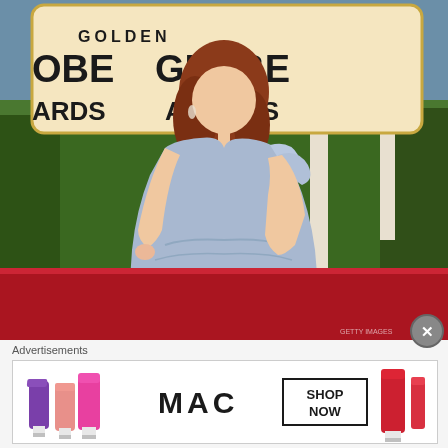[Figure (photo): A woman with red/auburn hair wearing a light blue one-shoulder draped gown standing on a red carpet in front of a Golden Globe Awards backdrop with green hedges in background]
Advertisements
[Figure (photo): MAC Cosmetics advertisement banner showing multiple lipsticks in purple, pink, and red shades with MAC logo and SHOP NOW button]